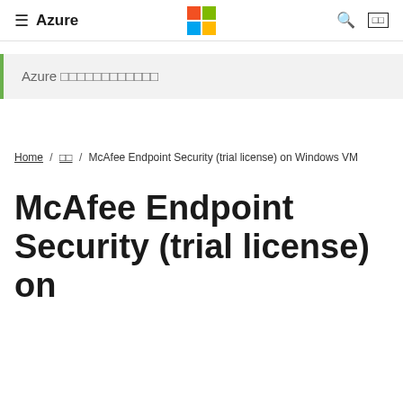≡ Azure | Microsoft Logo | 🔍 □□
Azure □□□□□□□□□□□□
Home / □□ / McAfee Endpoint Security (trial license) on Windows VM
McAfee Endpoint Security (trial license) on